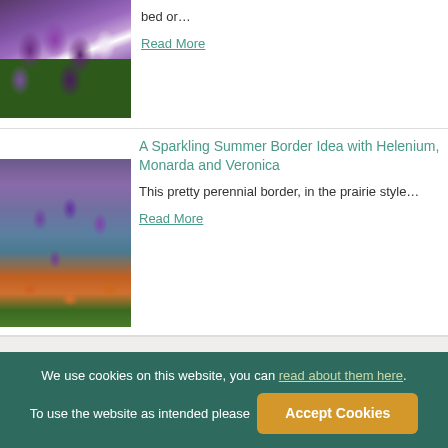[Figure (photo): Purple and white tulips in a garden bed]
bed or…
Read More
Garden
[Figure (photo): Prairie style perennial border with purple monarda and orange helenium flowers]
A Sparkling Summer Border Idea with Helenium, Monarda and Veronica
This pretty perennial border, in the prairie style…
Read More
We use cookies on this website, you can read about them here. To use the website as intended please  Accept Cookies